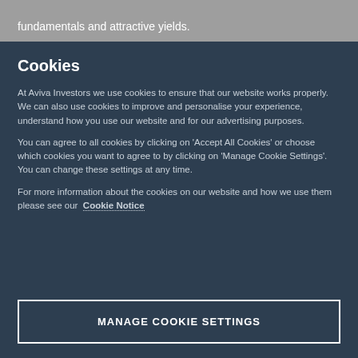fundamentals and attractive yields.
Cookies
At Aviva Investors we use cookies to ensure that our website works properly. We can also use cookies to improve and personalise your experience, understand how you use our website and for our advertising purposes.
You can agree to all cookies by clicking on ‘Accept All Cookies’ or choose which cookies you want to agree to by clicking on ‘Manage Cookie Settings’. You can change these settings at any time.
For more information about the cookies on our website and how we use them please see our Cookie Notice
MANAGE COOKIE SETTINGS